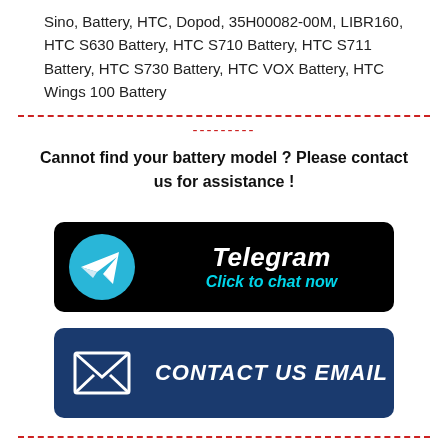Sino, Battery, HTC, Dopod, 35H00082-00M, LIBR160, HTC S630 Battery, HTC S710 Battery, HTC S711 Battery, HTC S730 Battery, HTC VOX Battery, HTC Wings 100 Battery
Cannot find your battery model ? Please contact us for assistance !
[Figure (infographic): Telegram banner with Telegram logo and text 'Telegram / Click to chat now' on black background]
[Figure (infographic): Contact Us Email banner with envelope icon on dark blue background with text 'CONTACT US EMAIL']